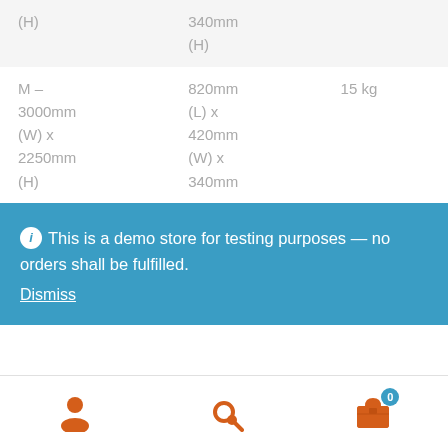| (H) | 340mm
(H) |  |
| M – 3000mm (W) x 2250mm (H) | 820mm (L) x 420mm (W) x 340mm | 15 kg |
This is a demo store for testing purposes — no orders shall be fulfilled.
Dismiss